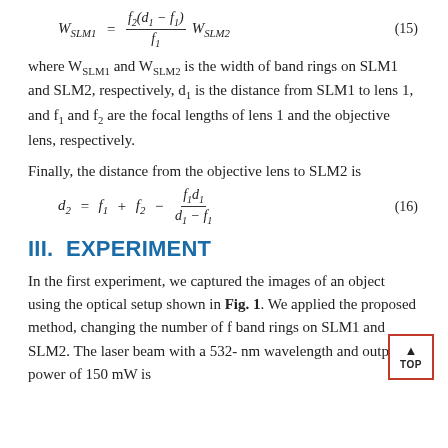where W_SLM1 and W_SLM2 is the width of band rings on SLM1 and SLM2, respectively, d1 is the distance from SLM1 to lens 1, and f1 and f2 are the focal lengths of lens 1 and the objective lens, respectively.
Finally, the distance from the objective lens to SLM2 is
III. EXPERIMENT
In the first experiment, we captured the images of an object using the optical setup shown in Fig. 1. We applied the proposed method, changing the number of f band rings on SLM1 and SLM2. The laser beam with a 532-nm wavelength and output power of 150 mW is